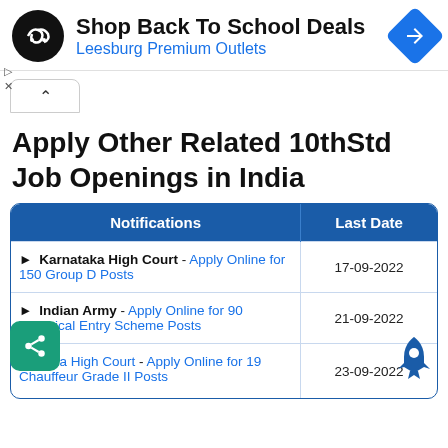[Figure (other): Advertisement banner: Shop Back To School Deals at Leesburg Premium Outlets, with logo and navigation icon]
Apply Other Related 10thStd Job Openings in India
| Notifications | Last Date |
| --- | --- |
| ▶ Karnataka High Court - Apply Online for 150 Group D Posts | 17-09-2022 |
| ▶ Indian Army - Apply Online for 90 Technical Entry Scheme Posts | 21-09-2022 |
| ▶ Kerala High Court - Apply Online for 19 Chauffeur Grade II Posts | 23-09-2022 |